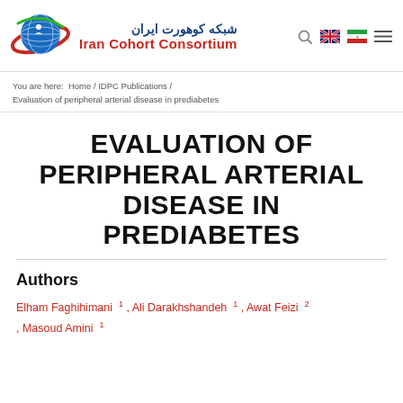[Figure (logo): Iran Cohort Consortium logo with globe and orbiting elements, Persian text 'شبکه کوهورت ایران' and English text 'Iran Cohort Consortium']
You are here:  Home / IDPC Publications / Evaluation of peripheral arterial disease in prediabetes
EVALUATION OF PERIPHERAL ARTERIAL DISEASE IN PREDIABETES
Authors
Elham Faghihimani 1 , Ali Darakhshandeh 1 , Awat Feizi 2 , Masoud Amini 1